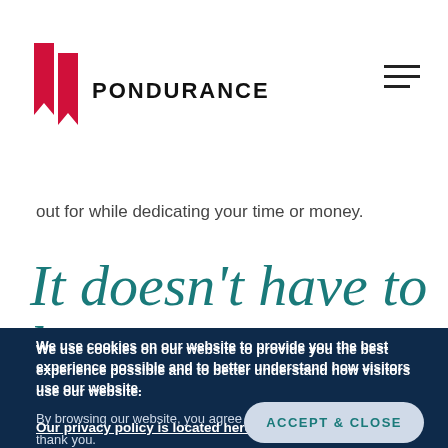PONDURANCE
vulnerability management program requires both time and money to be successful. This last part of the Introduction to Vulnerability Management series describes a couple of quick wins and some gotchas to look out for while dedicating your time or money.
It doesn’t have to be
We use cookies on our website to provide you the best experience possible and to better understand how visitors use our website. By browsing our website, you agree to our use of cookies and we thank you.
Our privacy policy is located here.
ACCEPT & CLOSE